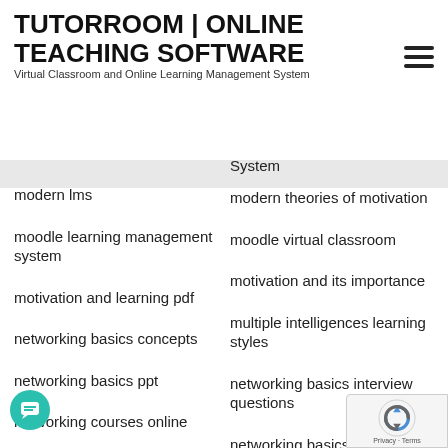TUTORROOM | ONLINE TEACHING SOFTWARE
Virtual Classroom and Online Learning Management System
System
modern lms
modern theories of motivation
moodle learning management system
moodle virtual classroom
motivation and its importance
motivation and learning pdf
multiple intelligences learning styles
networking basics concepts
networking basics interview questions
networking basics ppt
networking basics tutor
networking courses online
networking for beginners